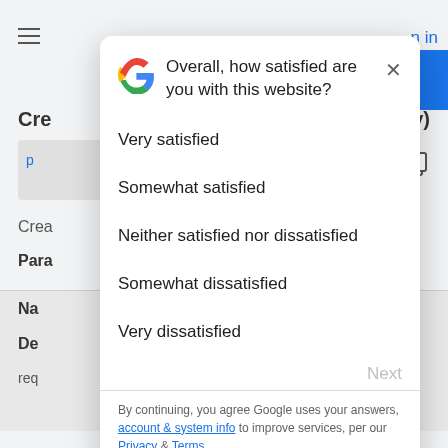[Figure (screenshot): Background of a Google webpage showing hamburger menu, sign-in link, blue button, and partial page content]
Overall, how satisfied are you with this website?
Very satisfied
Somewhat satisfied
Neither satisfied nor dissatisfied
Somewhat dissatisfied
Very dissatisfied
Next
By continuing, you agree Google uses your answers, account & system info to improve services, per our Privacy & Terms.